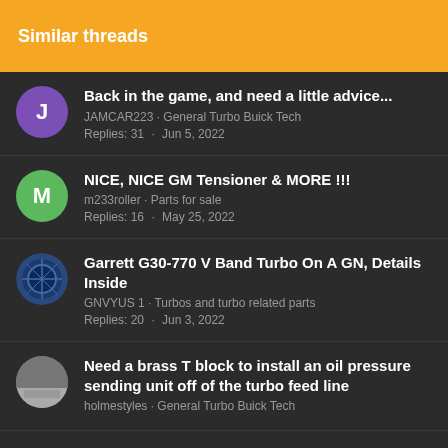Similar threads
Back in the game, and need a little advice...
JAMCAR223 · General Turbo Buick Tech
Replies: 31 · Jun 5, 2022
NICE, NICE GM Tensioner & MORE !!!
m233roller · Parts for sale
Replies: 16 · May 25, 2022
Garrett G30-770 V Band Turbo On A GN, Details Inside
GNVYUS 1 · Turbos and turbo related parts
Replies: 20 · Jun 3, 2022
Need a brass T block to install an oil pressure sending unit off of the turbo feed line
holmestyles · General Turbo Buick Tech